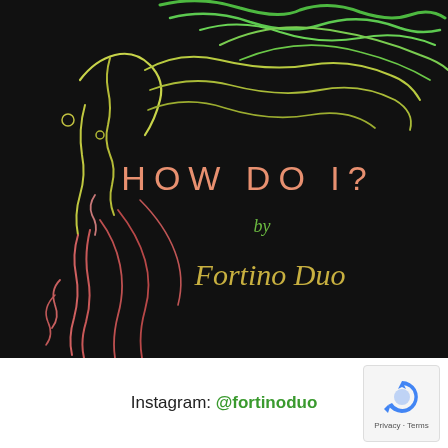[Figure (illustration): Dark black background album art for 'HOW DO I?' by Fortino Duo. Left side features a minimalist line-art illustration of a woman's face and flowing hair rendered in gradient colors from yellow-green at top to pink-red at bottom, with green swirling lines extending to the upper right. On the right side, text reads 'HOW DO I?' in salmon/pink spaced block letters, followed by 'by' in small green cursive, and 'Fortino Duo' in gold/yellow cursive script below.]
Instagram: @fortinoduo